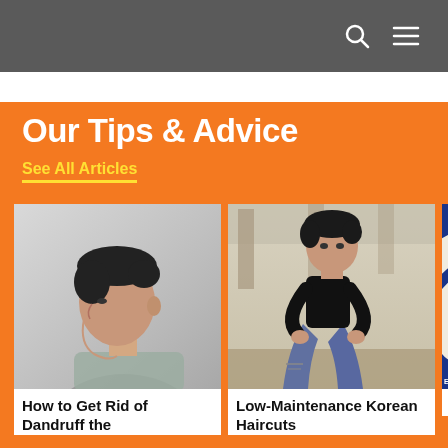Navigation bar with search and menu icons
Our Tips & Advice
See All Articles
[Figure (photo): Side profile of a young Asian man with dark hair wearing a gray shirt against a light gray background]
How to Get Rid of Dandruff the
[Figure (photo): Young man sitting outdoors in a black t-shirt and ripped jeans, looking upward]
Low-Maintenance Korean Haircuts
[Figure (photo): Blue background with white swirl/cream graphic, partially visible. ESTO.PH watermark visible.]
Why Reall